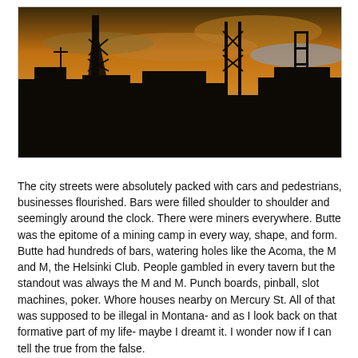[Figure (photo): Industrial silhouette at sunset showing mining structures, headframes, and transmission towers against an orange and grey sky]
The city streets were absolutely packed with cars and pedestrians, businesses flourished. Bars were filled shoulder to shoulder and seemingly around the clock. There were miners everywhere. Butte was the epitome of a mining camp in every way, shape, and form. Butte had hundreds of bars, watering holes like the Acoma, the M and M, the Helsinki Club. People gambled in every tavern but the standout was always the M and M. Punch boards, pinball, slot machines, poker. Whore houses nearby on Mercury St. All of that was supposed to be illegal in Montana- and as I look back on that formative part of my life- maybe I dreamt it. I wonder now if I can tell the true from the false.
I had my first drink at 11. That was perfectly normal and